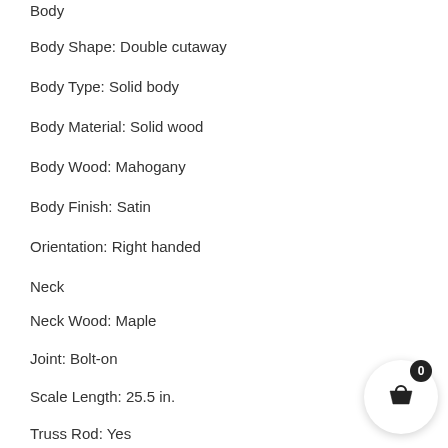Body
Body Shape: Double cutaway
Body Type: Solid body
Body Material: Solid wood
Body Wood: Mahogany
Body Finish: Satin
Orientation: Right handed
Neck
Neck Wood: Maple
Joint: Bolt-on
Scale Length: 25.5 in.
Truss Rod: Yes